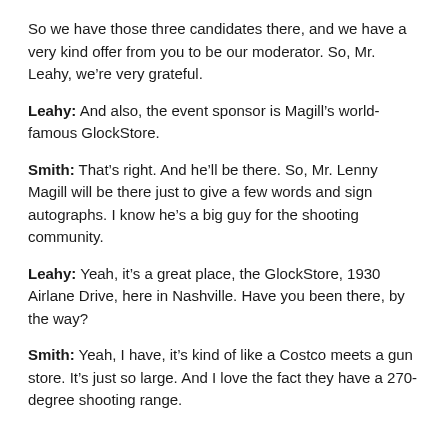So we have those three candidates there, and we have a very kind offer from you to be our moderator. So, Mr. Leahy, we’re very grateful.
Leahy: And also, the event sponsor is Magill’s world-famous GlockStore.
Smith: That’s right. And he’ll be there. So, Mr. Lenny Magill will be there just to give a few words and sign autographs. I know he’s a big guy for the shooting community.
Leahy: Yeah, it’s a great place, the GlockStore, 1930 Airlane Drive, here in Nashville. Have you been there, by the way?
Smith: Yeah, I have, it’s kind of like a Costco meets a gun store. It’s just so large. And I love the fact they have a 270-degree shooting range.